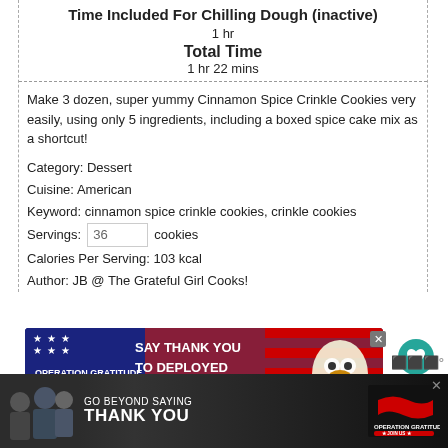Time Included For Chilling Dough (inactive)
1 hr
Total Time
1 hr 22 mins
Make 3 dozen, super yummy Cinnamon Spice Crinkle Cookies very easily, using only 5 ingredients, including a boxed spice cake mix as a shortcut!
Category: Dessert
Cuisine: American
Keyword: cinnamon spice crinkle cookies, crinkle cookies
Servings: 36 cookies
Calories Per Serving: 103 kcal
Author: JB @ The Grateful Girl Cooks!
[Figure (screenshot): Operation Gratitude advertisement banner: 'SAY THANK YOU TO DEPLOYED TROOPS' with patriotic owl mascot and American flag imagery]
[Figure (screenshot): Operation Gratitude bottom banner advertisement: 'GO BEYOND SAYING THANK YOU' with JOIN US button and logo]